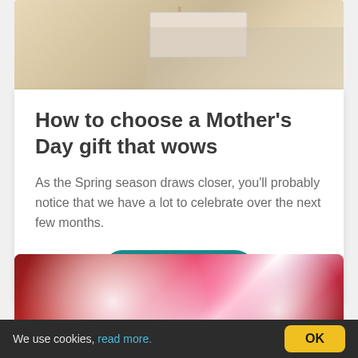[Figure (photo): Top of page: photo of wrapped gift boxes with floral ribbon on a light cream surface, partially visible at top of page]
How to choose a Mother's Day gift that wows
As the Spring season draws closer, you'll probably notice that we have a lot to celebrate over the next few months.
[Figure (other): Read more button — teal rounded pill button with white text]
[Figure (photo): Bottom photo: red bucket or container filled with white and pink heart-shaped candies or decorations]
We use cookies, read more. OK